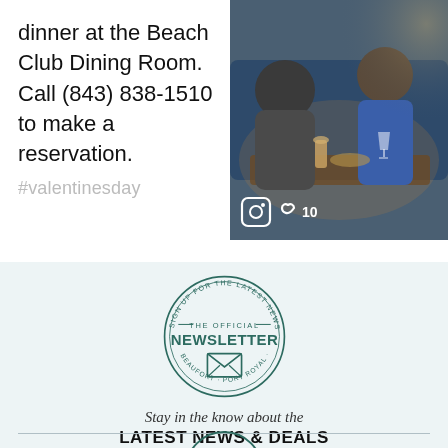dinner at the Beach Club Dining Room. Call (843) 838-1510 to make a reservation. #valentinesday
[Figure (photo): Two people at a restaurant dining table with drinks and food, Instagram-style photo with social icons overlay showing heart and count 10]
[Figure (illustration): Circular badge/stamp logo reading SIGN UP FOR THE LATEST NEWS & DEALS - THE OFFICIAL NEWSLETTER - BEAUFORT · PORT ROYAL · SEA ISLANDS with envelope icon in center]
Stay in the know about the
LATEST NEWS & DEALS